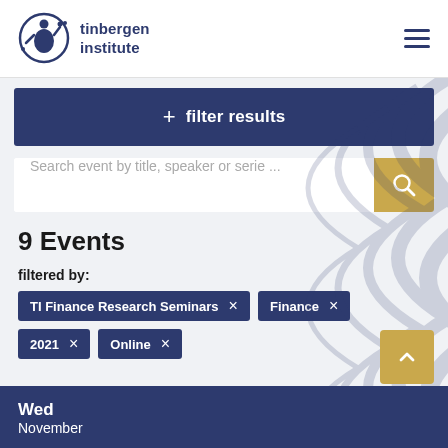tinbergen institute
+ filter results
Search event by title, speaker or serie ...
9 Events
filtered by:
TI Finance Research Seminars ×
Finance ×
2021 ×
Online ×
Wed
November